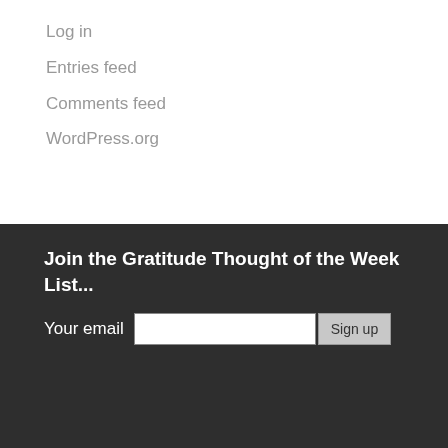Log in
Entries feed
Comments feed
WordPress.org
Join the Gratitude Thought of the Week List...
Your email [input field] Sign up